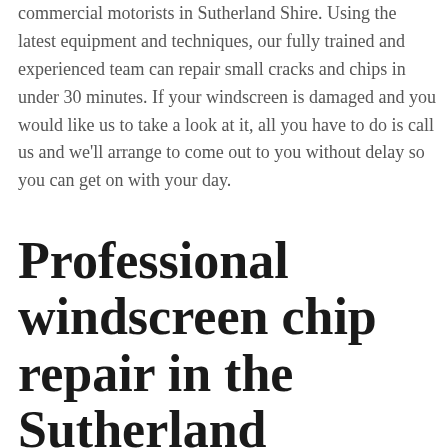commercial motorists in Sutherland Shire. Using the latest equipment and techniques, our fully trained and experienced team can repair small cracks and chips in under 30 minutes. If your windscreen is damaged and you would like us to take a look at it, all you have to do is call us and we'll arrange to come out to you without delay so you can get on with your day.
Professional windscreen chip repair in the Sutherland